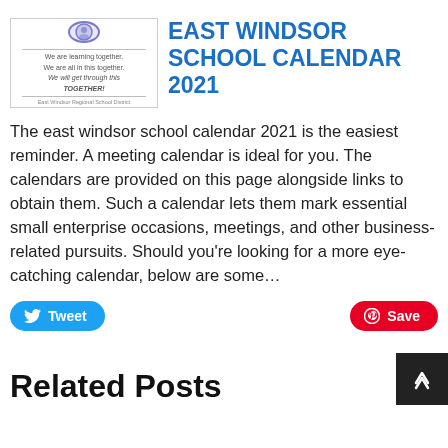[Figure (logo): East Windsor school logo with circular emblem and text: We are learning together. We are all in this together. We will get through this TOGETHER!]
EAST WINDSOR SCHOOL CALENDAR 2021
The east windsor school calendar 2021 is the easiest reminder. A meeting calendar is ideal for you. The calendars are provided on this page alongside links to obtain them. Such a calendar lets them mark essential small enterprise occasions, meetings, and other business-related pursuits. Should you're looking for a more eye-catching calendar, below are some…
[Figure (other): Tweet button (Twitter/X share button, blue rounded rectangle)]
[Figure (other): Save button (Pinterest save button, red rounded rectangle)]
Related Posts